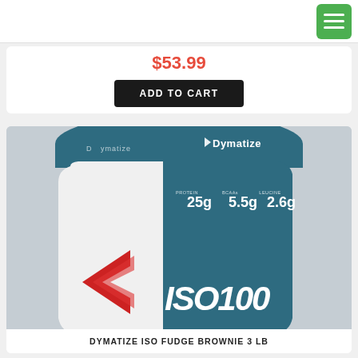[Figure (screenshot): Green hamburger menu button in top right corner of navigation bar]
$53.99
ADD TO CART
[Figure (photo): Dymatize ISO100 protein powder container in blue/teal and white, showing PROTEIN 25g, BCAAs 5.5g, and 2.6g, with Dymatize logo on lid]
DYMATIZE ISO FUDGE BROWNIE 3 LB